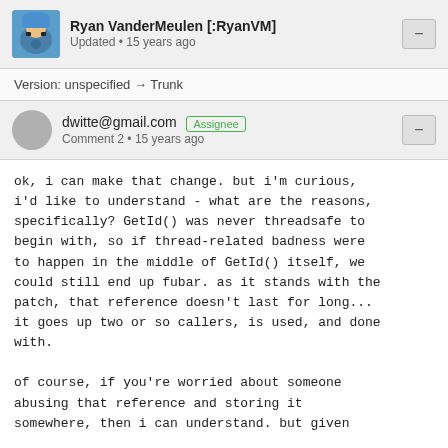Ryan VanderMeulen [:RyanVM]
Updated • 15 years ago
Version: unspecified → Trunk
dwitte@gmail.com  Assignee
Comment 2 • 15 years ago
ok, i can make that change. but i'm curious, i'd like to understand - what are the reasons, specifically? GetId() was never threadsafe to begin with, so if thread-related badness were to happen in the middle of GetId() itself, we could still end up fubar. as it stands with the patch, that reference doesn't last for long... it goes up two or so callers, is used, and done with.

of course, if you're worried about someone abusing that reference and storing it somewhere, then i can understand. but given